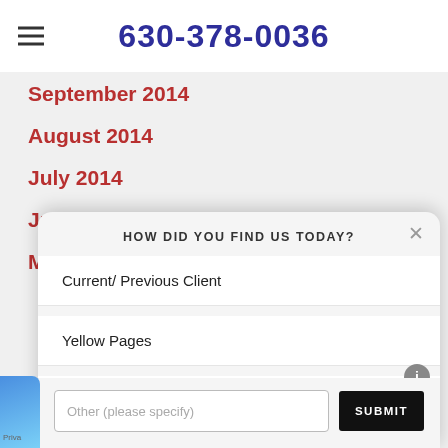630-378-0036
September 2014
August 2014
July 2014
June 2014
May 2014
HOW DID YOU FIND US TODAY?
Current/ Previous Client
Yellow Pages
Internet Search